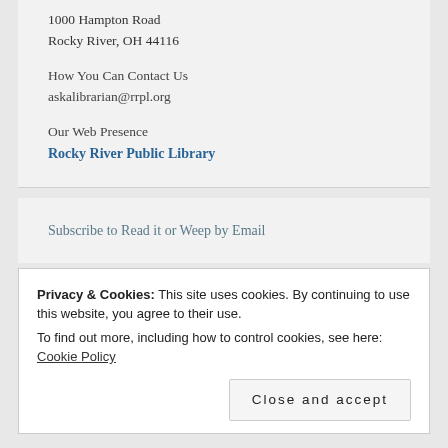1000 Hampton Road
Rocky River, OH 44116
How You Can Contact Us
askalibrarian@rrpl.org
Our Web Presence
Rocky River Public Library
Subscribe to Read it or Weep by Email
Privacy & Cookies: This site uses cookies. By continuing to use this website, you agree to their use.
To find out more, including how to control cookies, see here: Cookie Policy
Close and accept